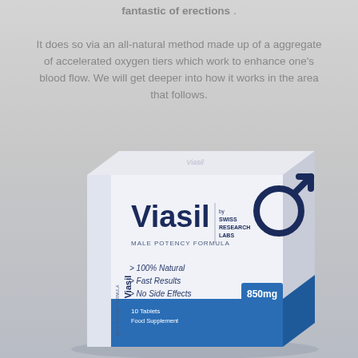fantastic of erections. It does so via an all-natural method made up of a aggregate of accelerated oxygen tiers which work to enhance one's blood flow. We will get deeper into how it works in the area that follows.
[Figure (photo): Product box of Viasil Male Potency Formula by Swiss Research Labs. The white and blue box shows: Viasil branding, Male Potency Formula text, by Swiss Research Labs, a male symbol icon, 100% Natural, Fast Results, No Side Effects bullet points, 850mg dosage label, 10 Tablets, Food Supplement text at bottom.]